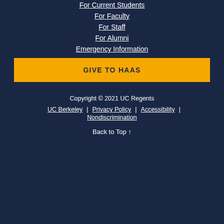For Current Students
For Faculty
For Staff
For Alumni
Emergency Information
GIVE TO HAAS
Copyright © 2021 UC Regents
UC Berkeley
Privacy Policy
Accessibility
Nondiscrimination
Back to Top ↑